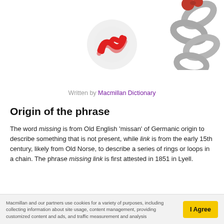[Figure (illustration): Macmillan Dictionary logo (red M-wave on circle) with a chain and red berry in the top right corner]
Written by Macmillan Dictionary
Origin of the phrase
The word missing is from Old English ‘missan’ of Germanic origin to describe something that is not present, while link is from the early 15th century, likely from Old Norse, to describe a series of rings or loops in a chain. The phrase missing link is first attested in 1851 in Lyell.
Macmillan and our partners use cookies for a variety of purposes, including collecting information about site usage, content management, providing customized content and ads, and traffic measurement and analysis